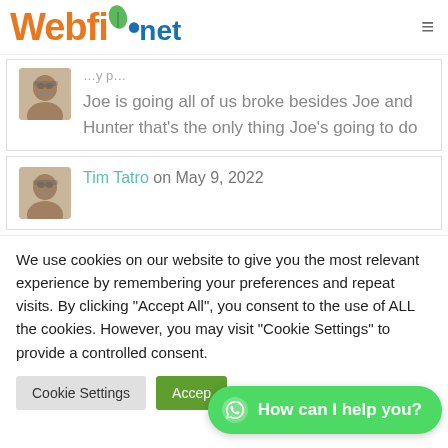Webfi.net
Joe is going all of us broke besides Joe and Hunter that's the only thing Joe's going to do
Tim Tatro on May 9, 2022
We use cookies on our website to give you the most relevant experience by remembering your preferences and repeat visits. By clicking "Accept All", you consent to the use of ALL the cookies. However, you may visit "Cookie Settings" to provide a controlled consent.
Cookie Settings | Accept All | How can I help you?